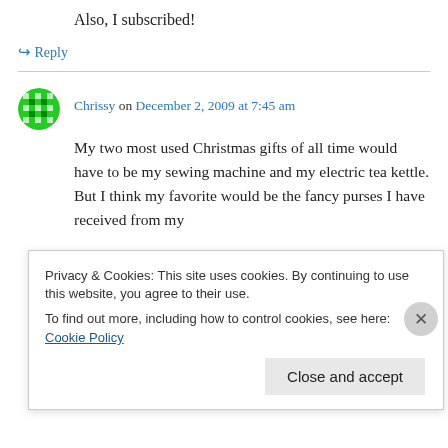Also, I subscribed!
↳ Reply
Chrissy on December 2, 2009 at 7:45 am
My two most used Christmas gifts of all time would have to be my sewing machine and my electric tea kettle. But I think my favorite would be the fancy purses I have received from my
Privacy & Cookies: This site uses cookies. By continuing to use this website, you agree to their use.
To find out more, including how to control cookies, see here: Cookie Policy
Close and accept